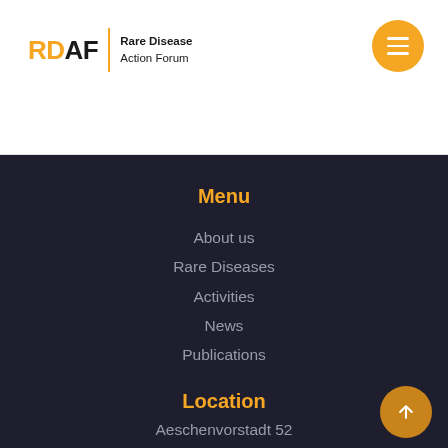RDAF Rare Disease Action Forum
Menu
About us
Rare Diseases
Activities
News
Publications
Location
Aeschenvorstadt 52